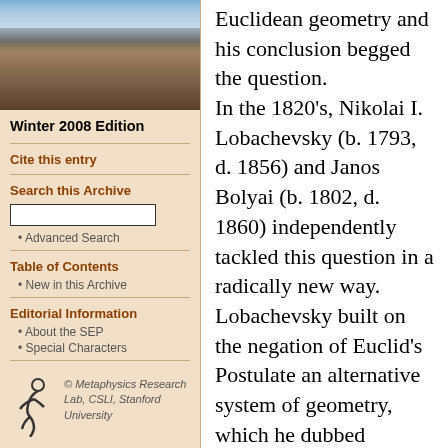[Figure (photo): Photograph of a university building (likely Oxford or Cambridge style stone architecture) with blue sky and clouds]
Winter 2008 Edition
Cite this entry
Search this Archive
Advanced Search
Table of Contents
New in this Archive
Editorial Information
About the SEP
Special Characters
[Figure (logo): Metaphysics Research Lab, CSLI, Stanford University logo with stylized figure]
Euclidean geometry and his conclusion begged the question.

In the 1820's, Nikolai I. Lobachevsky (b. 1793, d. 1856) and Janos Bolyai (b. 1802, d. 1860) independently tackled this question in a radically new way. Lobachevsky built on the negation of Euclid's Postulate an alternative system of geometry, which he dubbed “imaginary” and tried inconclusively to test for validity at the astronomical scale by calculating the sum of the internal angles of triangles formed by stars on the sky. Bolyai excised the postulate from Euclid's system; the remaining rump is the "absolute